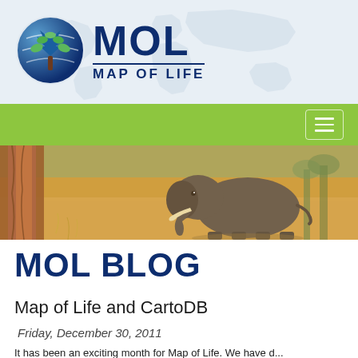[Figure (logo): MOL Map of Life logo: circular globe icon with tree and green leaves, next to bold dark blue text 'MOL' and subtitle 'MAP OF LIFE']
[Figure (photo): Navigation bar with green background (#8dc63f) and a hamburger menu button on the right]
[Figure (photo): Photograph of an elephant walking in a dry grassland with a tree trunk in the foreground and dry grass and trees in the background]
MOL BLOG
Map of Life and CartoDB
Friday, December 30, 2011
It has been an exciting month for Map of Life. We have d...